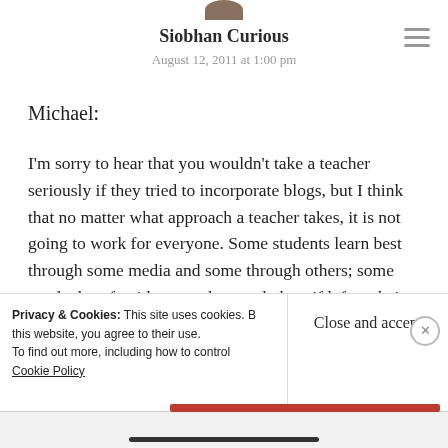Siobhan Curious
August 12, 2011 at 1:00 pm
Michael:
I'm sorry to hear that you wouldn't take a teacher seriously if they tried to incorporate blogs, but I think that no matter what approach a teacher takes, it is not going to work for everyone. Some students learn best through some media and some through others; some need a lot of guidance and some do best if left to their own devices. The concept of “scaffolding” in
Privacy & Cookies: This site uses cookies. By continuing to use this website, you agree to their use.
To find out more, including how to control cookies, see here:
Cookie Policy
Close and accept